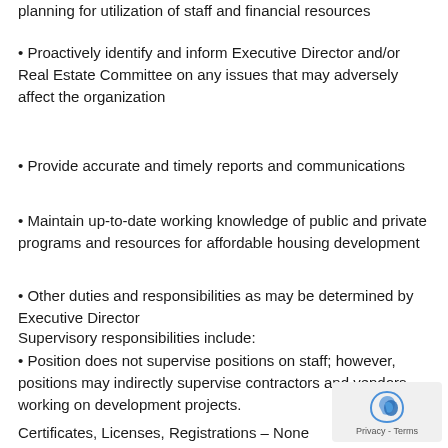planning for utilization of staff and financial resources
Proactively identify and inform Executive Director and/or Real Estate Committee on any issues that may adversely affect the organization
Provide accurate and timely reports and communications
Maintain up-to-date working knowledge of public and private programs and resources for affordable housing development
Other duties and responsibilities as may be determined by Executive Director
Supervisory responsibilities include:
Position does not supervise positions on staff; however, positions may indirectly supervise contractors and vendors working on development projects.
Certificates, Licenses, Registrations – None